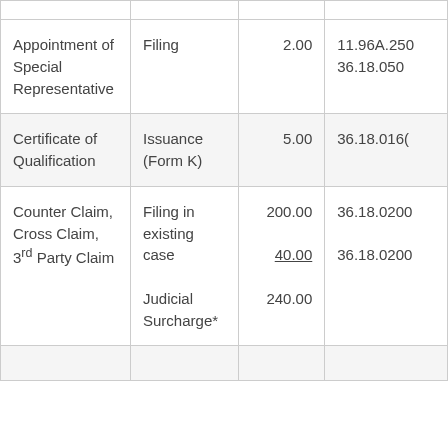|  |  |  |  |
| --- | --- | --- | --- |
| Appointment of Special Representative | Filing | 2.00 | 11.96A.250
36.18.050 |
| Certificate of Qualification | Issuance (Form K) | 5.00 | 36.18.016( |
| Counter Claim, Cross Claim, 3rd Party Claim | Filing in existing case

Judicial Surcharge* | 200.00
40.00
240.00 | 36.18.0200
36.18.0200 |
|  |  |  |  |